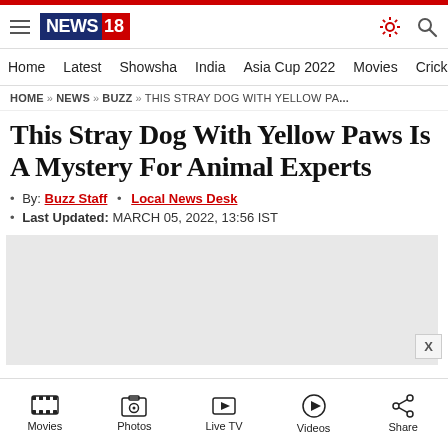[Figure (logo): News18 logo with blue and red background]
Home | Latest | Showsha | India | Asia Cup 2022 | Movies | Cricket
HOME » NEWS » BUZZ » THIS STRAY DOG WITH YELLOW PA...
This Stray Dog With Yellow Paws Is A Mystery For Animal Experts
• By: Buzz Staff • Local News Desk
• Last Updated: MARCH 05, 2022, 13:56 IST
[Figure (other): Advertisement placeholder (grey box)]
Movies | Photos | Live TV | Videos | Share